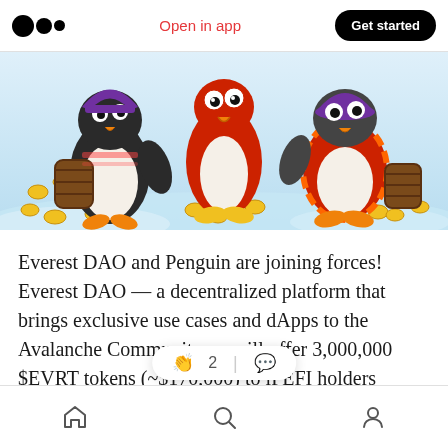Open in app | Get started
[Figure (illustration): Cartoon illustration of penguins with gold coins on an icy background. Penguins dressed as pirates with barrels, coins scattered around.]
Everest DAO and Penguin are joining forces! Everest DAO — a decentralized platform that brings exclusive use cases and dApps to the Avalanche Community — will offer 3,000,000 $EVRT tokens (~$170,000) to iPEFI holders through the Club Penguin dApp. With a projected APR of 130%, this [clap 2 | comment] for success.
Home | Search | Profile